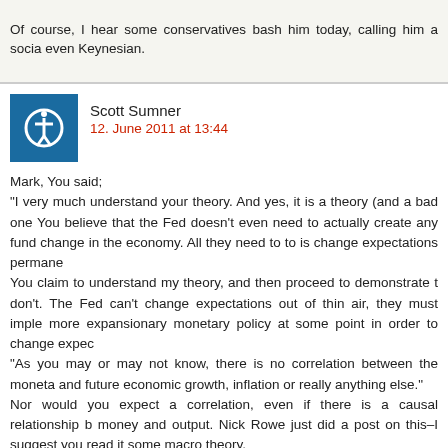Of course, I hear some conservatives bash him today, calling him a socia... even Keynesian.
Scott Sumner
12. June 2011 at 13:44
Mark, You said;
“I very much understand your theory. And yes, it is a theory (and a bad one... You believe that the Fed doesn’t even need to actually create any fund... change in the economy. All they need to to is change expectations permane...
You claim to understand my theory, and then proceed to demonstrate t... don’t. The Fed can’t change expectations out of thin air, they must imple... more expansionary monetary policy at some point in order to change expec...
“As you may or may not know, there is no correlation between the moneta... and future economic growth, inflation or really anything else.”
Nor would you expect a correlation, even if there is a causal relationship b... money and output. Nick Rowe just did a post on this–I suggest you read it... some macro theory.
You said:
“Now, your little theory about expectations is interesting.”